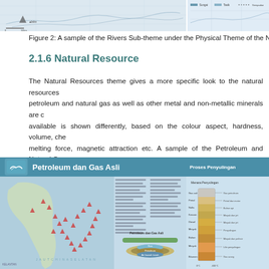[Figure (map): Top strip showing two maps related to Rivers Sub-theme under Physical Theme]
Figure 2: A sample of the Rivers Sub-theme under the Physical Theme of the Na
2.1.6 Natural Resource
The Natural Resources theme gives a more specific look to the natural resources petroleum and natural gas as well as other metal and non-metallic minerals are c available is shown differently, based on the colour aspect, hardness, volume, che melting force, magnetic attraction etc. A sample of the Petroleum and Natural Ga as shown in Figure 3.
[Figure (infographic): Infographic showing Petroleum dan Gas Asli (Petroleum and Natural Gas) with a map of Malaysia showing petroleum locations, a diagram of petroleum layers, and a refining process chart (Proses Penyulingan)]